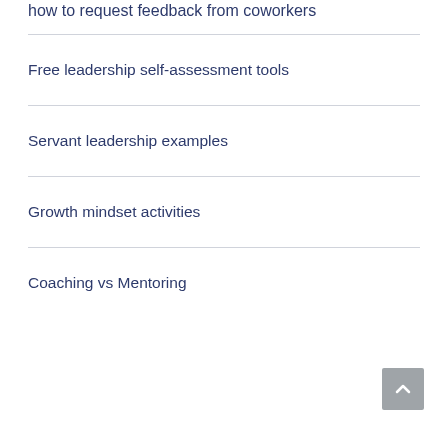how to request feedback from coworkers
Free leadership self-assessment tools
Servant leadership examples
Growth mindset activities
Coaching vs Mentoring